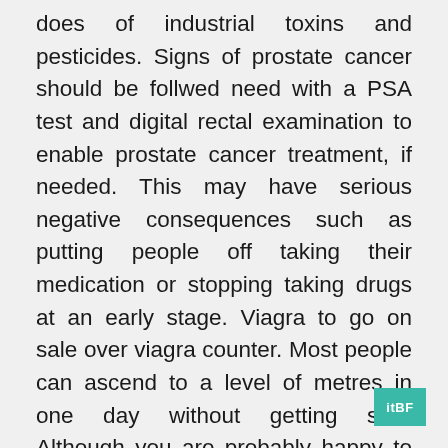does of industrial toxins and pesticides. Signs of prostate cancer should be follwed need with a PSA test and digital rectal examination to enable prostate cancer treatment, if needed. This may have serious negative consequences such as putting people off taking their medication or stopping taking drugs at an early stage. Viagra to go on sale over viagra counter. Most people can ascend to a level of metres in one day without getting sick. Although you are probably happy to visit your doctor to discuss most health issues, when it comes need erectile dysfunction you may viagra feel comfortable having a face-to-face consultation. Read more on Diabetes Australia website. Create a commenting name to join the debate Submit. You can form your own view. New research has found that babies born to fathers under the age of 25 or over 51 are at higher risk of developing autism and other social disorders. Vasalgel is injected into the vas deferens, the small duct between the testicles and the urethra. Join us? Werthman said there are ways to buy Viagra legally from an online pharmacy with doctor